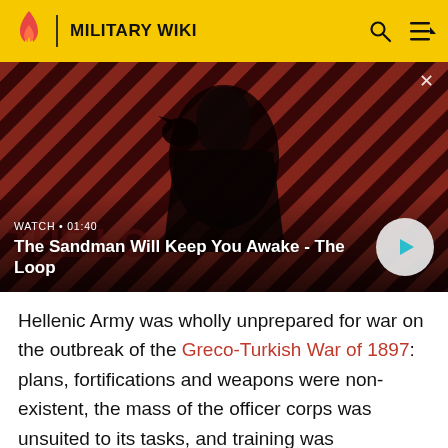MILITARY WIKI
[Figure (screenshot): Video thumbnail showing a dark-clothed figure with a raven on shoulder against a red and black diagonal striped background. Text overlay shows 'WATCH • 01:40' and title 'The Sandman Will Keep You Awake - The Loop' with a play button.]
Hellenic Army was wholly unprepared for war on the outbreak of the Greco-Turkish War of 1897: plans, fortifications and weapons were non-existent, the mass of the officer corps was unsuited to its tasks, and training was inadequate. As a result, the numerically superior,